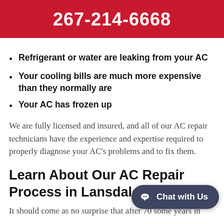267-214-6668
Refrigerant or water are leaking from your AC
Your cooling bills are much more expensive than they normally are
Your AC has frozen up
We are fully licensed and insured, and all of our AC repair technicians have the experience and expertise required to properly diagnose your AC's problems and to fix them.
Learn About Our AC Repair Process in Lansdale, PA
It should come as no surprise that after 70 some years in